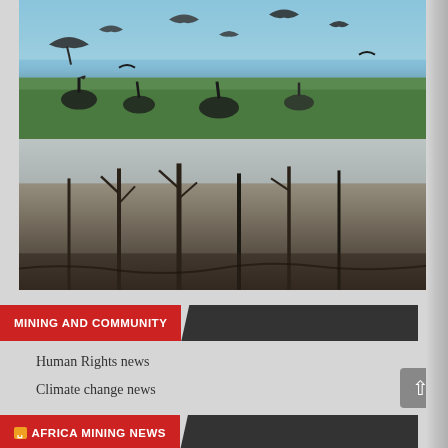[Figure (photo): A two-panel meme image. Top panel shows birds (seagulls/pelicans) flying over green marsh at Cat Island, LA, May 2010 with header text 'BP SAYS THE GULF IS BACK TO NORMAL'. Bottom panel shows barren dead trees and dark muddy landscape at Cat Island, LA, April 2014, with text 'DOES THIS LOOK NORMAL TO YOU?' and watermark 'OCCUPY DEMOCRATS'.]
MINING AND COMMUNITY
Human Rights news
Climate change news
AFRICA MINING NEWS